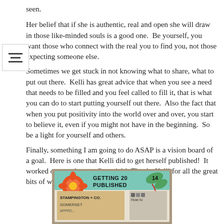seen.
Her belief that if she is authentic, real and open she will draw in those like-minded souls is a good one.  Be yourself, you want those who connect with the real you to find you, not those expecting someone else.
Sometimes we get stuck in not knowing what to share, what to put out there.  Kelli has great advice that when you see a need that needs to be filled and you feel called to fill it, that is what you can do to start putting yourself out there.  Also the fact that when you put positivity into the world over and over, you start to believe it, even if you might not have in the beginning.  So be a light for yourself and others.
Finally, something I am going to do ASAP is a vision board of a goal.  Here is one that Kelli did to get herself published!  It worked over and over.  Great job!  Thanks Kelli for all the great bits of wisdom and practical advice!
[Figure (photo): A vision board image with text 'GETTING PUBLISHED 2014' with decorative flowers, and labels including 'Stampington + Co.', 'Somerset', 'How to']